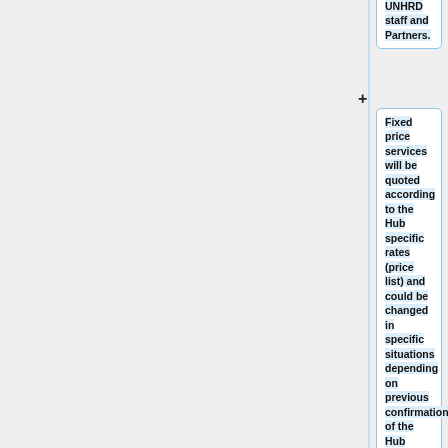UNHRD staff and Partners.
Fixed price services will be quoted according to the Hub specific rates (price list) and could be changed in specific situations depending on previous confirmation of the Hub manager.
== The PI/quotation value for